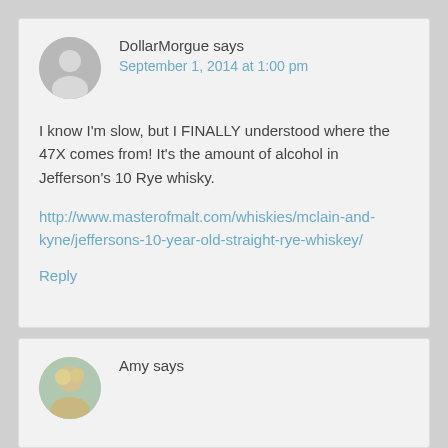DollarMorgue says
September 1, 2014 at 1:00 pm
I know I'm slow, but I FINALLY understood where the 47X comes from! It's the amount of alcohol in Jefferson's 10 Rye whisky.
http://www.masterofmalt.com/whiskies/mclain-and-kyne/jeffersons-10-year-old-straight-rye-whiskey/
Reply
Amy says